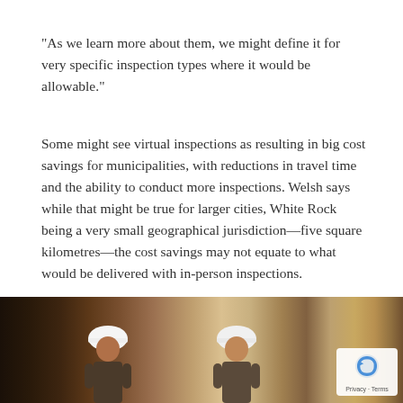“As we learn more about them, we might define it for very specific inspection types where it would be allowable.”
Some might see virtual inspections as resulting in big cost savings for municipalities, with reductions in travel time and the ability to conduct more inspections. Welsh says while that might be true for larger cities, White Rock being a very small geographical jurisdiction—five square kilometres—the cost savings may not equate to what would be delivered with in-person inspections.
“It would be more cost beneficial in a larger municipality.”
[Figure (photo): Photo of two construction workers wearing white hard hats at a building site with wooden framing visible in the background. Image is partially cropped at the bottom of the page.]